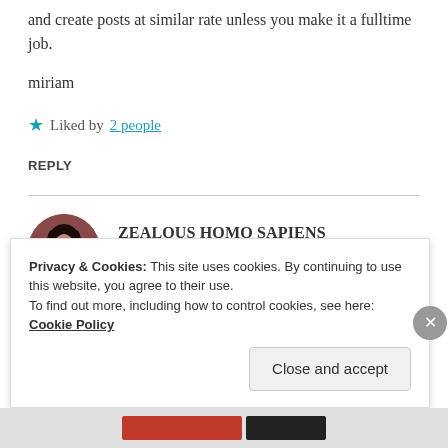and create posts at similar rate unless you make it a fulltime job.
miriam
★ Liked by 2 people
REPLY
ZEALOUS HOMO SAPIENS
17 Apr 2019 at 2:52 pm
Privacy & Cookies: This site uses cookies. By continuing to use this website, you agree to their use.
To find out more, including how to control cookies, see here: Cookie Policy
Close and accept